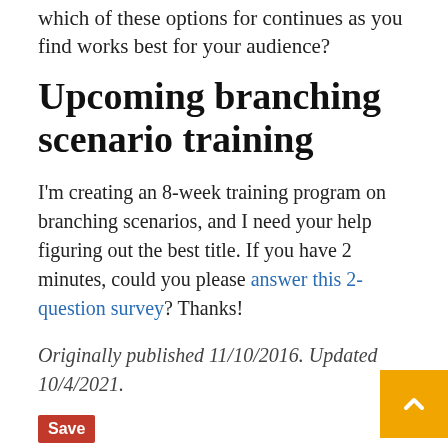which of these options for continues as you find works best for your audience?
Upcoming branching scenario training
I'm creating an 8-week training program on branching scenarios, and I need your help figuring out the best title. If you have 2 minutes, could you please answer this 2-question survey? Thanks!
Originally published 11/10/2016. Updated 10/4/2021.
Save
Share this:
Twitter Facebook LinkedIn Email